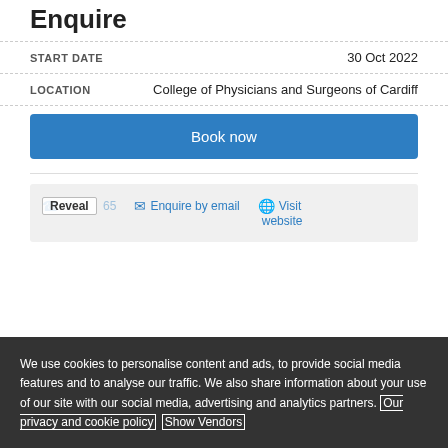Enquire
| Field | Value |
| --- | --- |
| START DATE | 30 Oct 2022 |
| LOCATION | College of Physicians and Surgeons of Cardiff |
Book now
02... Reveal ...65  Enquire by email  Visit website
We use cookies to personalise content and ads, to provide social media features and to analyse our traffic. We also share information about your use of our site with our social media, advertising and analytics partners. Our privacy and cookie policy  Show Vendors